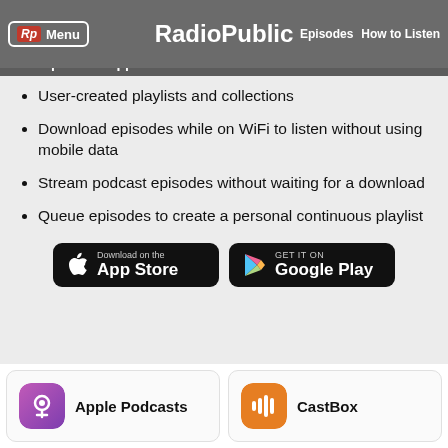RadioPublic — Menu | Episodes | How to Listen
A free podcast app for iPhone and Android
User-created playlists and collections
Download episodes while on WiFi to listen without using mobile data
Stream podcast episodes without waiting for a download
Queue episodes to create a personal continuous playlist
[Figure (logo): Download on the App Store button (black)]
[Figure (logo): Get it on Google Play button (black)]
[Figure (logo): Apple Podcasts icon with label]
[Figure (logo): CastBox icon with label]